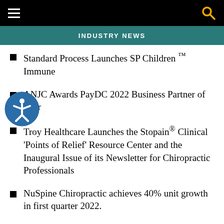INDUSTRY NEWS
Standard Process Launches SP Children ™ Immune
ANJC Awards PayDC 2022 Business Partner of Year
Troy Healthcare Launches the Stopain® Clinical 'Points of Relief' Resource Center and the Inaugural Issue of its Newsletter for Chiropractic Professionals
NuSpine Chiropractic achieves 40% unit growth in first quarter 2022.